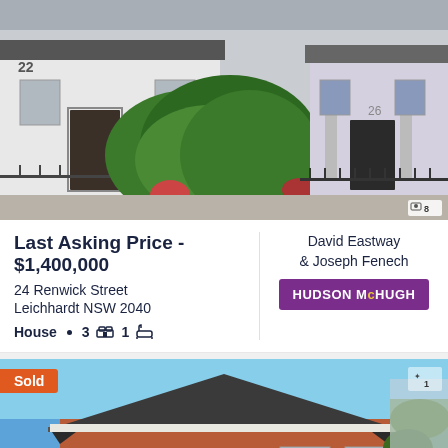[Figure (photo): Terrace houses at 24 Renwick Street Leichhardt NSW 2040 - white painted brick terraces with iron fence and green hedge]
Last Asking Price - $1,400,000
24 Renwick Street
Leichhardt NSW 2040
House · 3 [bed] 1 [bath]
David Eastway & Joseph Fenech
[Figure (logo): HUDSON McHUGH agency logo in purple rectangle]
[Figure (photo): Sold property - brick veneer house with dark tiled hip roof, double garage, trimmed hedges, blue sky background. Sold badge in orange top left.]